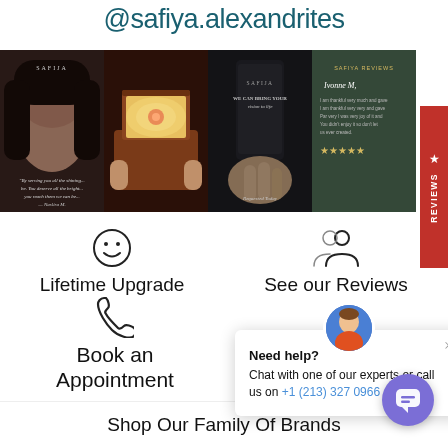@safiya.alexandrites
[Figure (photo): Four Instagram-style photo thumbnails in a horizontal strip: (1) woman wearing earring with SAFIJA brand overlay and italic quote, (2) close-up of a glowing jewelry box with a gemstone ring, (3) phone screen showing SAFIJA 'We Can Bring Your Vision To Life' with designer finger, (4) dark green SAFIJA REVIEWS card with reviewer name, review text, and five gold stars. A red vertical REVIEWS tab appears on the right edge.]
Lifetime Upgrade
Book an Appointment
See our Reviews
Need help?
Chat with one of our experts or call us on +1 (213) 327 0966
Shop Our Family Of Brands